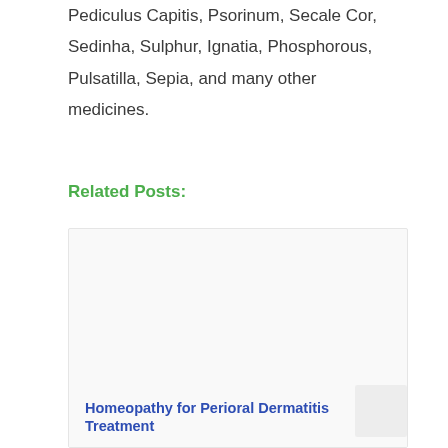Pediculus Capitis, Psorinum, Secale Cor, Sedinha, Sulphur, Ignatia, Phosphorous, Pulsatilla, Sepia, and many other medicines.
Related Posts:
[Figure (photo): White/blank image placeholder for a related post card]
Homeopathy for Perioral Dermatitis Treatment